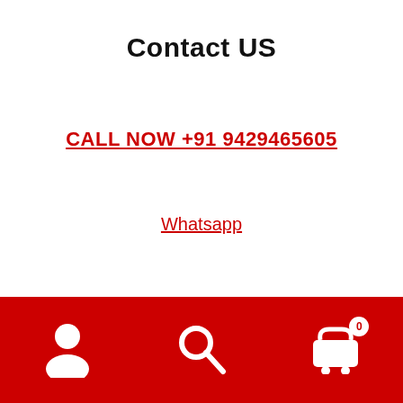Contact US
CALL NOW +91 9429465605
Whatsapp
We Accept Currency
INR – INDIA